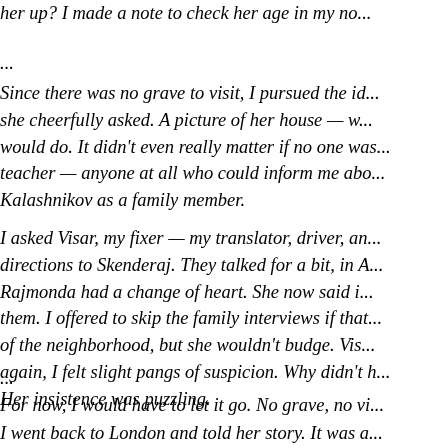her up? I made a note to check her age in my no...
...
Since there was no grave to visit, I pursued the id... she cheerfully asked. A picture of her house — w... would do. It didn't even really matter if no one was... teacher — anyone at all who could inform me abo... Kalashnikov as a family member.
I asked Visar, my fixer — my translator, driver, an... directions to Skenderaj. They talked for a bit, in A... Rajmonda had a change of heart. She now said i... them. I offered to skip the family interviews if that... of the neighborhood, but she wouldn't budge. Vis... again, I felt slight pangs of suspicion. Why didn't h... Her insistence was puzzling.
...
For now, I would have to let it go. No grave, no vi...
I went back to London and told her story. It was a... saw her small sister die. It was beamed around th...